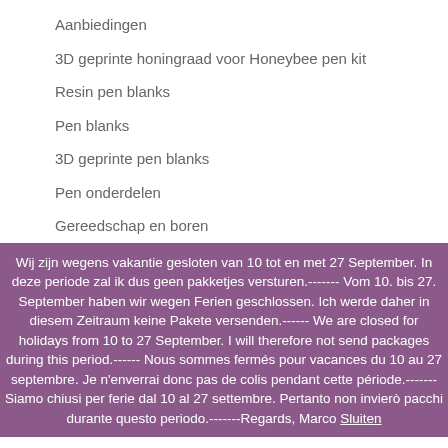Aanbiedingen
3D geprinte honingraad voor Honeybee pen kit
Resin pen blanks
Pen blanks
3D geprinte pen blanks
Pen onderdelen
Gereedschap en boren
Wij zijn wegens vakantie gesloten van 10 tot en met 27 September. In deze periode zal ik dus geen pakketjes versturen.------- Vom 10. bis 27. September haben wir wegen Ferien geschlossen. Ich werde daher in diesem Zeitraum keine Pakete versenden.------ We are closed for holidays from 10 to 27 September. I will therefore not send packages during this period.------ Nous sommes fermés pour vacances du 10 au 27 septembre. Je n'enverrai donc pas de colis pendant cette période.------- Siamo chiusi per ferie dal 10 al 27 settembre. Pertanto non invierò pacchi durante questo periodo.-------Regards, Marco Sluiten